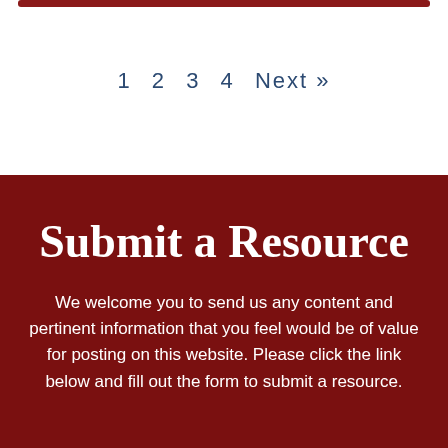1   2   3   4   Next »
Submit a Resource
We welcome you to send us any content and pertinent information that you feel would be of value for posting on this website. Please click the link below and fill out the form to submit a resource.